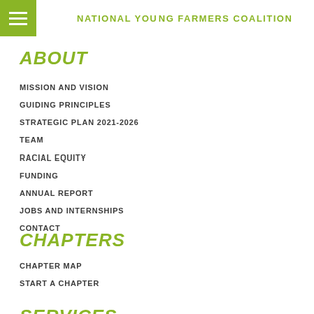NATIONAL YOUNG FARMERS COALITION
ABOUT
MISSION AND VISION
GUIDING PRINCIPLES
STRATEGIC PLAN 2021-2026
TEAM
RACIAL EQUITY
FUNDING
ANNUAL REPORT
JOBS AND INTERNSHIPS
CONTACT
CHAPTERS
CHAPTER MAP
START A CHAPTER
SERVICES